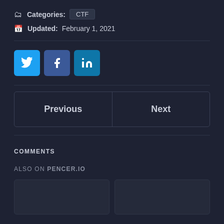Categories: CTF
Updated: February 1, 2021
[Figure (other): Social share buttons: Twitter, Facebook, LinkedIn]
Previous | Next
COMMENTS
ALSO ON PENCER.IO